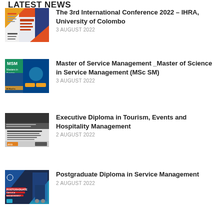LATEST NEWS
[Figure (photo): The 3rd International Conference 2022 poster thumbnail]
The 3rd International Conference 2022 – IHRA, University of Colombo
3 AUGUST 2022
[Figure (photo): MSM Masters in Service Management program poster thumbnail]
Master of Service Management _Master of Science in Service Management (MSc SM)
3 AUGUST 2022
[Figure (photo): Executive Diploma in Tourism, Events and Hospitality Management poster thumbnail]
Executive Diploma in Tourism, Events and Hospitality Management
2 AUGUST 2022
[Figure (photo): Postgraduate Diploma in Service Management poster thumbnail]
Postgraduate Diploma in Service Management
2 AUGUST 2022